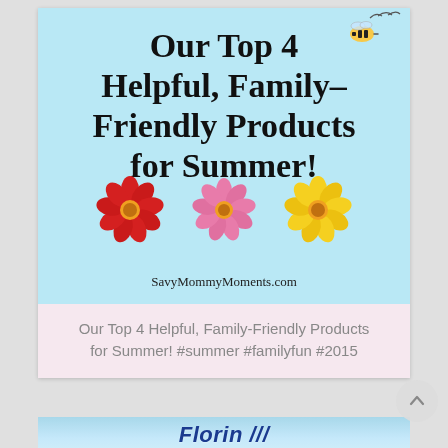[Figure (illustration): Light blue background with large bold text reading 'Our Top 4 Helpful, Family-Friendly Products for Summer!' with a bee illustration at top right and three gerbera daisy flowers (red, pink, yellow) below the text, and website URL 'SavyMommyMoments.com' at bottom.]
Our Top 4 Helpful, Family-Friendly Products for Summer! #summer #familyfun #2015
[Figure (photo): Partial view of a second image with blue watery/sky background and bold italic blue text partially visible at bottom of page.]